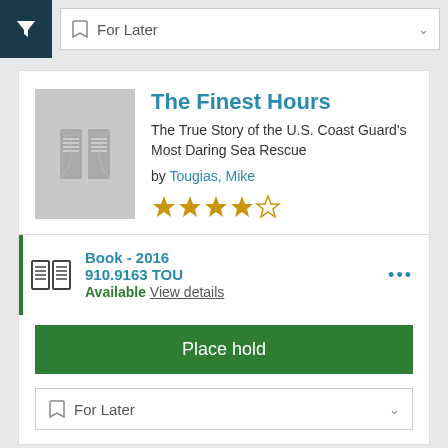[Figure (screenshot): Library catalog interface showing a book listing for 'The Finest Hours' with filter button, For Later button, book cover placeholder, author info, star rating, availability details, Place hold button, and another For Later button at the bottom.]
For Later
The Finest Hours
The True Story of the U.S. Coast Guard's Most Daring Sea Rescue
by Tougias, Mike
Book - 2016
910.9163 TOU
Available View details
Place hold
For Later